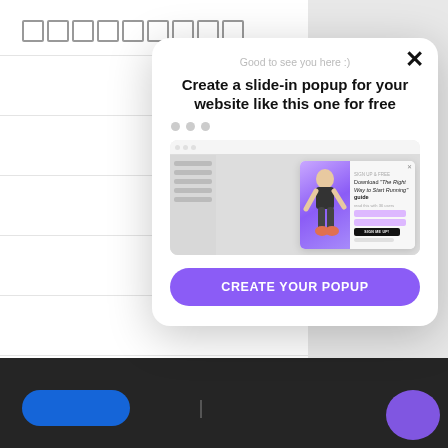[Figure (screenshot): Background website UI with blurred table/grid lines, CMS label, blue button, and dark footer bar]
[Figure (screenshot): Slide-in popup modal overlay showing: close X button, subtitle 'Good to see you here :)', bold heading 'Create a slide-in popup for your website like this one for free', three gray dots, a screenshot thumbnail of a fitness popup with athlete image and download guide form, and a purple CTA button 'CREATE YOUR POPUP']